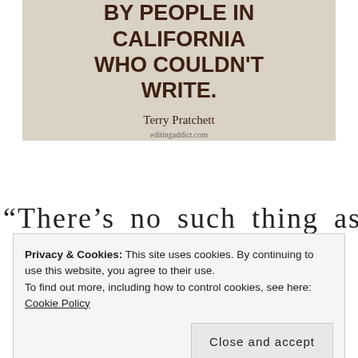[Figure (illustration): Quote image on beige/tan background. Text reads 'BY PEOPLE IN CALIFORNIA WHO COULDN'T WRITE.' attributed to Terry Pratchett, editingaddict.com]
“There’s no such thing as writer’s
Privacy & Cookies: This site uses cookies. By continuing to use this website, you agree to their use. To find out more, including how to control cookies, see here: Cookie Policy
Close and accept